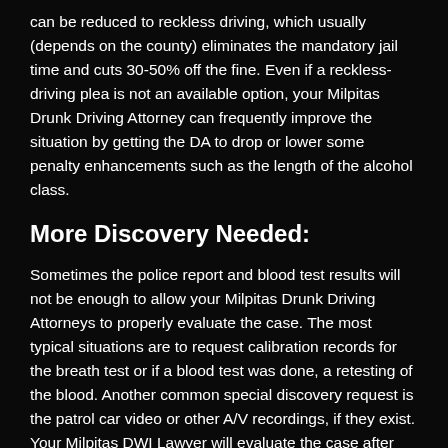can be reduced to reckless driving, which usually (depends on the county) eliminates the mandatory jail time and cuts 30-50% off the fine. Even if a reckless-driving plea is not an available option, your Milpitas Drunk Driving Attorney can frequently improve the situation by getting the DA to drop or lower some penalty enhancements such as the length of the alcohol class.
More Discovery Needed:
Sometimes the police report and blood test results will not be enough to allow your Milpitas Drunk Driving Attorneys to properly evaluate the case. The most typical situations are to request calibration records for the breath test or if a blood test was done, a retesting of the blood. Another common special discovery request is the patrol car video or other A/V recordings, if they exist. Your Milpitas DWI Lawyer will evaluate the case after seeing the police and lab reports and will know what else he needs to defend you. Each case is different and what additional information your Milpitas DWI